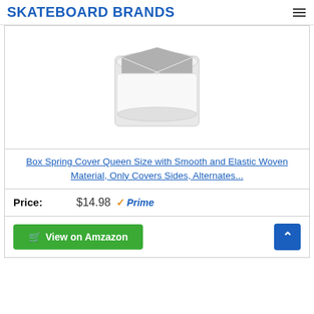SKATEBOARD BRANDS
[Figure (photo): White box spring cover product shown in a flat lay, square shape with gray woven fabric top and white border/frame, on white background]
Box Spring Cover Queen Size with Smooth and Elastic Woven Material, Only Covers Sides, Alternates...
Price: $14.98 Prime
View on Amzazon